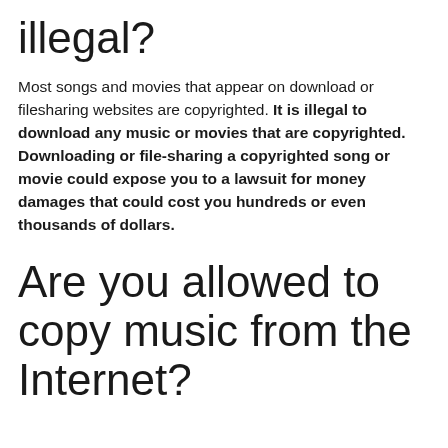illegal?
Most songs and movies that appear on download or filesharing websites are copyrighted. It is illegal to download any music or movies that are copyrighted. Downloading or file-sharing a copyrighted song or movie could expose you to a lawsuit for money damages that could cost you hundreds or even thousands of dollars.
Are you allowed to copy music from the Internet?